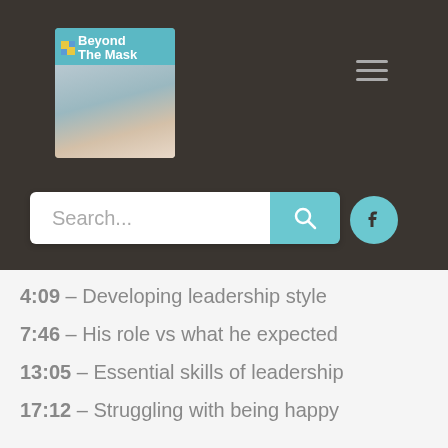[Figure (screenshot): Beyond The Mask podcast logo — square image with teal header bar showing 'Beyond The Mask' text and a woman's eye visible behind a medical mask]
[Figure (illustration): Hamburger menu icon (three horizontal lines) in gray on dark background]
[Figure (screenshot): Search bar with white input area showing 'Search...' placeholder and teal search button with magnifying glass icon]
[Figure (logo): Facebook icon circle button in teal]
4:09 – Developing leadership style
7:46 – His role vs what he expected
13:05 – Essential skills of leadership
17:12 – Struggling with being happy